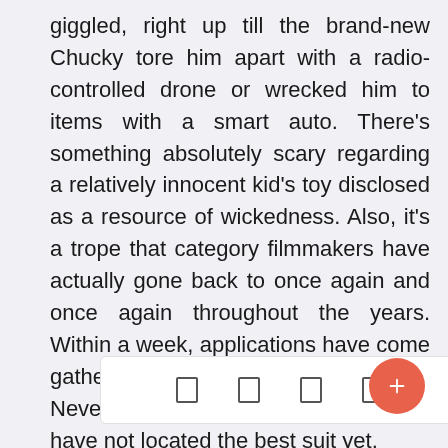giggled, right up till the brand-new Chucky tore him apart with a radio-controlled drone or wrecked him to items with a smart auto. There's something absolutely scary regarding a relatively innocent kid's toy disclosed as a resource of wickedness. Also, it's a trope that category filmmakers have actually gone back to once again and once again throughout the years. Within a week, applications have come gathering to embrace Prancer. Nevertheless, Tyfanee claims they have not located the best suit yet.
[Figure (other): A bottom toolbar with four icon placeholders and a red circular floating action button on the right.]